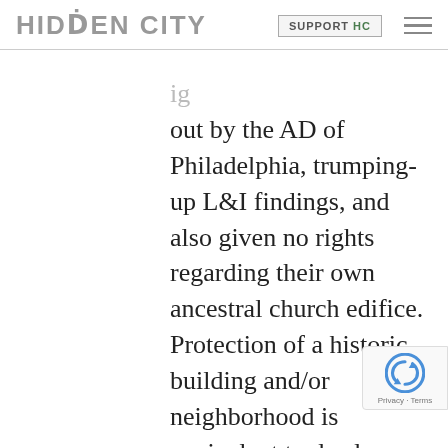HIDDEN CITY | SUPPORT HC
out by the AD of Philadelphia, trumping-up L&I findings, and also given no rights regarding their own ancestral church edifice. Protection of a historic building and/or neighborhood is equivalent to deed restrictions in suburban neighborhoods where most of America prefers to live...